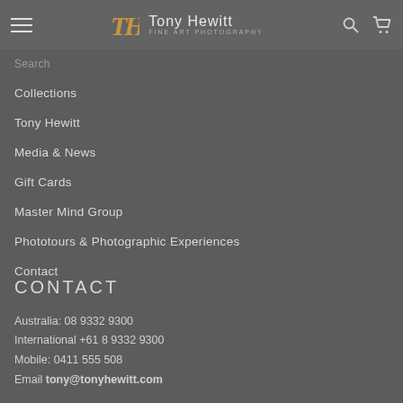Tony Hewitt Fine Art Photography — navigation header
Search
Collections
Tony Hewitt
Media & News
Gift Cards
Master Mind Group
Phototours & Photographic Experiences
Contact
CONTACT
Australia: 08 9332 9300
International +61 8 9332 9300
Mobile: 0411 555 508
Email tony@tonyhewitt.com